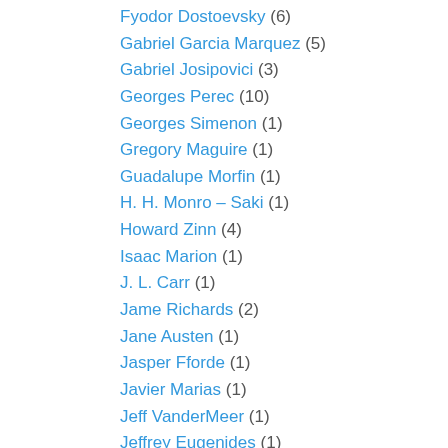Fyodor Dostoevsky (6)
Gabriel Garcia Marquez (5)
Gabriel Josipovici (3)
Georges Perec (10)
Georges Simenon (1)
Gregory Maguire (1)
Guadalupe Morfin (1)
H. H. Monro – Saki (1)
Howard Zinn (4)
Isaac Marion (1)
J. L. Carr (1)
Jame Richards (2)
Jane Austen (1)
Jasper Fforde (1)
Javier Marias (1)
Jeff VanderMeer (1)
Jeffrey Eugenides (1)
Jennifer E. Smith (1)
Joan Bauer (1)
John Crowley (2)